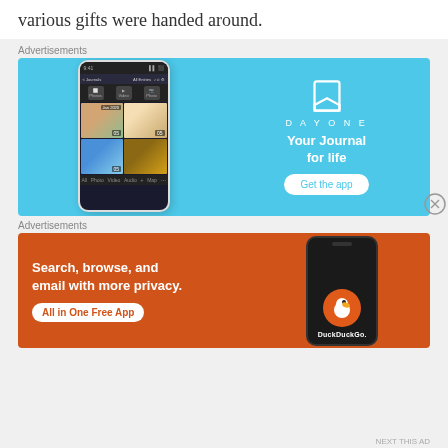various gifts were handed around.
Advertisements
[Figure (illustration): DayOne app advertisement with light blue background. Shows a smartphone with a journal app interface on the left. On the right: DayOne logo (bookmark icon), 'D A Y O N E' text, 'Your Journal for life' tagline, and a 'Get the app' button.]
Advertisements
[Figure (illustration): DuckDuckGo app advertisement with orange/red background. Text reads 'Search, browse, and email with more privacy. All in One Free App'. Shows a dark smartphone with the DuckDuckGo logo and 'DuckDuckGo.' text.]